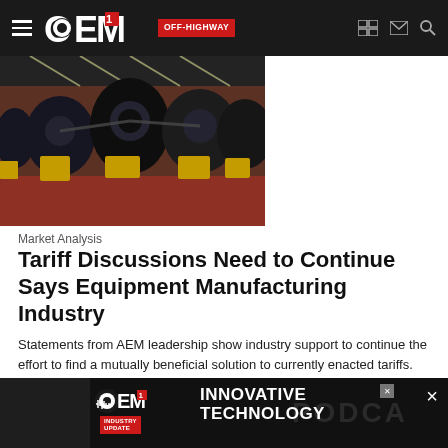OEM OFF-HIGHWAY
[Figure (photo): Manufacturing plant floor showing a row of heavy machinery engines on yellow stands in an industrial assembly line, with overhead lighting.]
Market Analysis
Tariff Discussions Need to Continue Says Equipment Manufacturing Industry
Statements from AEM leadership show industry support to continue the effort to find a mutually beneficial solution to currently enacted tariffs.
Association of Equipment Manufacturers (AEM)
October 7, 2021
[Figure (other): OEM Industry Update advertisement banner promoting 'Innovative Technology' podcast, with OEM logo on dark background.]